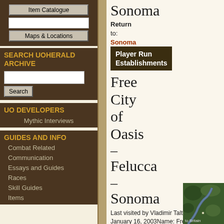Item Catalogue
Maps & Locations
SEARCH UOHERALD ARCHIVE
UO DEVELOPERS
Mythic Interviews
GUIDES AND INFO
Combat Related
Communication
Essays and Guides
Races
Skill Guides
Items
Sonoma
Return to:
Sonoma
Player Run Establishments
Free City of Oasis – Felucca – Sonoma
Last visited by Vladimir Taltos – January 16, 2003Name: Free City of Oasis – Felucca – Sonoma Guild: None Public Relations: Lord Minaurus
[Figure (screenshot): Map screenshot showing terrain with green landscape and a winding path, labeled 'to Britain']